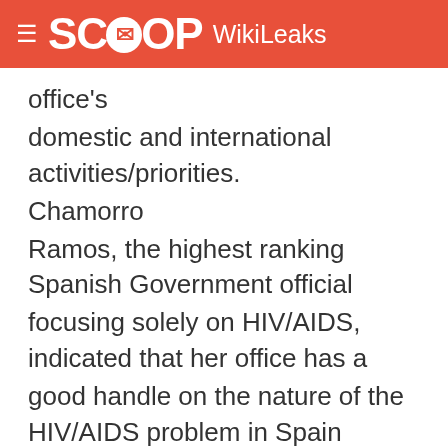SCOOP WikiLeaks
office's domestic and international activities/priorities. Chamorro Ramos, the highest ranking Spanish Government official focusing solely on HIV/AIDS, indicated that her office has a good handle on the nature of the HIV/AIDS problem in Spain and is adequately funded to combat it. New HIV infection rates continue to decline since their 1994 peak and Chamorro Ramos does not believe a resurgence is likely.